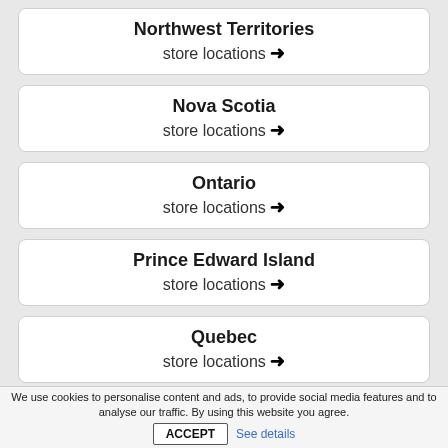Northwest Territories
store locations →
Nova Scotia
store locations →
Ontario
store locations →
Prince Edward Island
store locations →
Quebec
store locations →
Saskatchewan
store locations →
Yukon
store locations →
We use cookies to personalise content and ads, to provide social media features and to analyse our traffic. By using this website you agree. ACCEPT See details